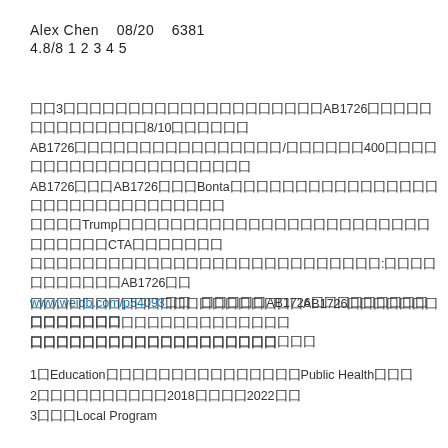Alex Chen    08/20    6381
4.8/8 1 2 3 4 5
囗囗3囗囗囗囗囗囗囗囗囗囗囗囗囗囗囗囗囗囗囗囗AB1726囗囗囗囗囗囗囗囗囗囗囗囗囗囗8/10囗囗囗囗囗囗AB1726囗囗囗囗囗囗囗囗囗囗囗囗囗囗囗囗/囗囗囗囗囗囗400囗囗囗囗囗囗囗囗囗囗囗囗囗囗囗囗囗囗囗囗囗AB1726囗囗囗AB1726囗囗囗Bonta囗囗囗囗囗囗囗囗囗囗囗囗囗囗囗囗囗囗囗囗囗囗囗囗囗囗囗囗囗囗囗Trump囗囗囗囗囗囗囗囗囗囗囗囗囗囗囗囗囗囗囗囗囗囗囗囗囗囗囗囗囗囗CTA囗囗囗囗囗囗囗囗囗囗囗囗囗囗囗囗囗囗囗囗囗囗囗囗囗囗囗囗囗:囗囗囗囗囗囗囗囗囗囗囗AB1726囗囗 www.weidb.com/p54093囗囗   囗囗囗囗囗AB1726囗囗囗囗囗囗囗囗囗囗囗囗囗囗囗囗囗囗囗囗囗囗囗囗囗囗囗囗囗囗囗囗囗囗囗囗
囗囗囗囗囗囗囗囗囗囗囗囗囗囗囗囗囗囗囗囗囗AB1726囗囗囗囗囗囗囗囗囗囗囗囗囗囗囗囗囗囗囗囗囗囗囗囗囗囗囗囗囗囗囗囗囗囗囗囗囗囗囗
1囗Education囗囗囗囗囗囗囗囗囗囗囗囗囗囗囗Public Health囗囗囗
2囗囗囗囗囗囗囗囗囗囗2018囗囗囗囗2022囗囗
3囗囗囗Local Program